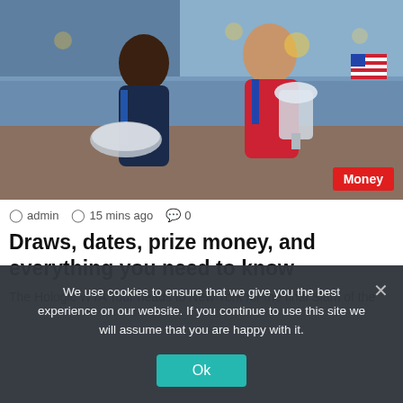[Figure (photo): Two female tennis players posing with trophies at the US Open. The player on the left holds a silver plate (runner-up trophy), the player on the right holds the US Open championship trophy. A red 'Money' badge overlay is in the bottom right corner of the image.]
admin  15 mins ago  0
Draws, dates, prize money, and everything you need to know
The Hologic WTA Tour heads to New York for the final Slam of the
We use cookies to ensure that we give you the best experience on our website. If you continue to use this site we will assume that you are happy with it.